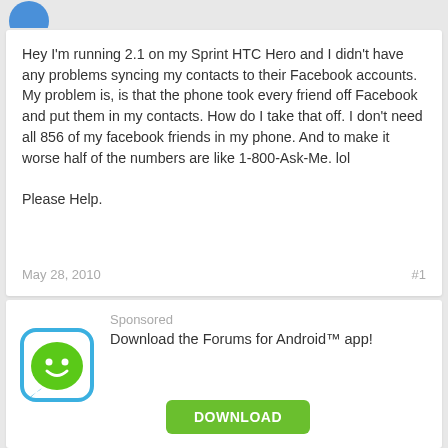[Figure (illustration): Partially visible blue circular avatar icon at the top left]
Hey I'm running 2.1 on my Sprint HTC Hero and I didn't have any problems syncing my contacts to their Facebook accounts.
My problem is, is that the phone took every friend off Facebook and put them in my contacts. How do I take that off. I don't need all 856 of my facebook friends in my phone. And to make it worse half of the numbers are like 1-800-Ask-Me. lol

Please Help.
May 28, 2010
#1
Sponsored
Download the Forums for Android™ app!
[Figure (logo): Forums for Android app icon — green smiley face in a speech bubble with blue border]
DOWNLOAD